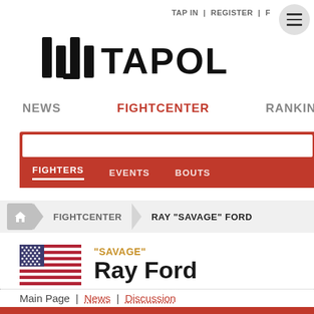TAP IN | REGISTER | F
[Figure (logo): Tapology logo - black stylized bars with text TAPOL (partially visible)]
NEWS   FIGHTCENTER   RANKINGS
FIGHTERS   EVENTS   BOUTS
FIGHTCENTER > RAY "SAVAGE" FORD
"SAVAGE" Ray Ford
Main Page | News | Discussion